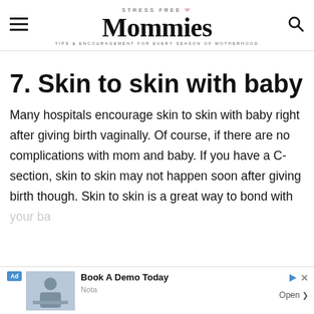STRESS FREE Mommies — TIPS & ENCOURAGEMENT FOR EVERY SEASON OF MOTHERHOOD
7. Skin to skin with baby
Many hospitals encourage skin to skin with baby right after giving birth vaginally. Of course, if there are no complications with mom and baby. If you have a C-section, skin to skin may not happen soon after giving birth though. Skin to skin is a great way to bond with your ba[by]